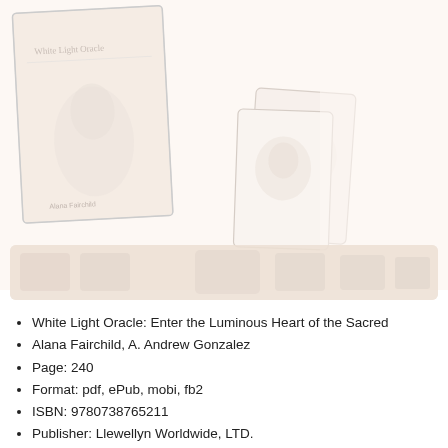[Figure (photo): Book cover and oracle cards for 'White Light Oracle: Enter the Luminous Heart of the Sacred' showing faint pale illustrations of cards and book cover in light cream/white tones]
[Figure (photo): A wide faded banner/strip showing blurred oracle card images in soft warm tones]
White Light Oracle: Enter the Luminous Heart of the Sacred
Alana Fairchild, A. Andrew Gonzalez
Page: 240
Format: pdf, ePub, mobi, fb2
ISBN: 9780738765211
Publisher: Llewellyn Worldwide, LTD.